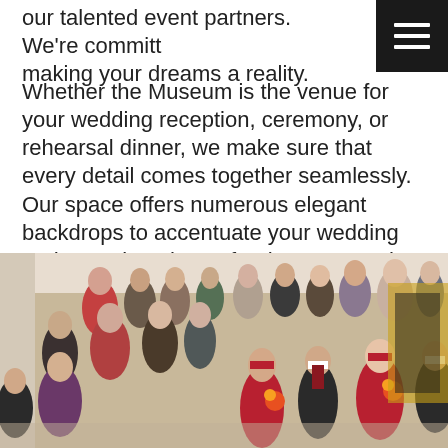our talented event partners. We're committed to making your dreams a reality.
Whether the Museum is the venue for your wedding reception, ceremony, or rehearsal dinner, we make sure that every detail comes together seamlessly. Our space offers numerous elegant backdrops to accentuate your wedding and occasion photos for the ages. In the Museum, you'll find:
[Figure (photo): Wedding party walking through a museum reception hall, bridesmaids in red dresses and groomsmen in black suits, with guests mingling in the background.]